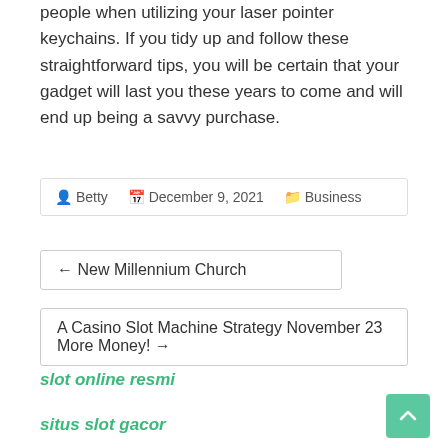people when utilizing your laser pointer keychains. If you tidy up and follow these straightforward tips, you will be certain that your gadget will last you these years to come and will end up being a savvy purchase.
Betty  December 9, 2021  Business
← New Millennium Church
A Casino Slot Machine Strategy November 23 More Money! →
slot online resmi
situs slot gacor